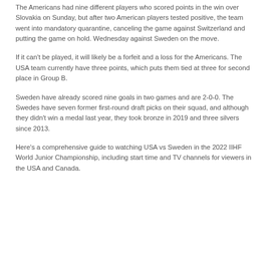The Americans had nine different players who scored points in the win over Slovakia on Sunday, but after two American players tested positive, the team went into mandatory quarantine, canceling the game against Switzerland and putting the game on hold. Wednesday against Sweden on the move.
If it can't be played, it will likely be a forfeit and a loss for the Americans. The USA team currently have three points, which puts them tied at three for second place in Group B.
Sweden have already scored nine goals in two games and are 2-0-0. The Swedes have seven former first-round draft picks on their squad, and although they didn't win a medal last year, they took bronze in 2019 and three silvers since 2013.
Here's a comprehensive guide to watching USA vs Sweden in the 2022 IIHF World Junior Championship, including start time and TV channels for viewers in the USA and Canada.